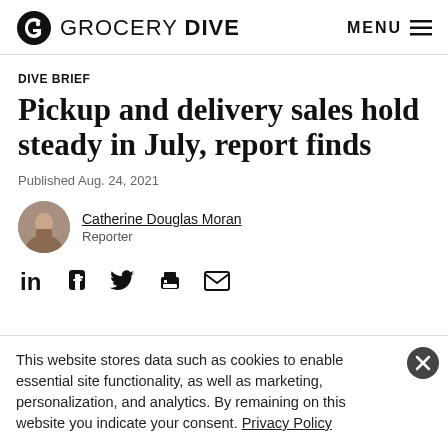GROCERY DIVE | MENU
DIVE BRIEF
Pickup and delivery sales hold steady in July, report finds
Published Aug. 24, 2021
Catherine Douglas Moran
Reporter
[Figure (other): Social share icons: LinkedIn, Facebook, Twitter, Print, Email]
This website stores data such as cookies to enable essential site functionality, as well as marketing, personalization, and analytics. By remaining on this website you indicate your consent. Privacy Policy